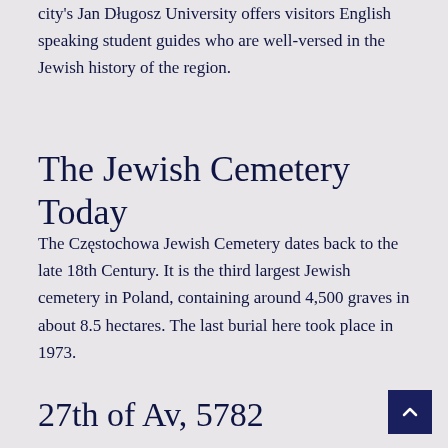city's Jan Długosz University offers visitors English speaking student guides who are well-versed in the Jewish history of the region.
The Jewish Cemetery Today
The Częstochowa Jewish Cemetery dates back to the late 18th Century. It is the third largest Jewish cemetery in Poland, containing around 4,500 graves in about 8.5 hectares. The last burial here took place in 1973.
27th of Av, 5782